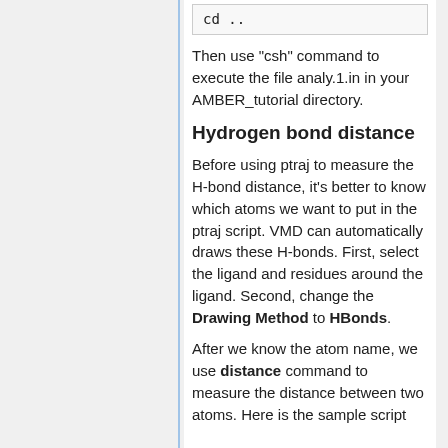cd ..
Then use "csh" command to execute the file analy.1.in in your AMBER_tutorial directory.
Hydrogen bond distance
Before using ptraj to measure the H-bond distance, it's better to know which atoms we want to put in the ptraj script. VMD can automatically draws these H-bonds. First, select the ligand and residues around the ligand. Second, change the Drawing Method to HBonds.
After we know the atom name, we use distance command to measure the distance between two atoms. Here is the sample script